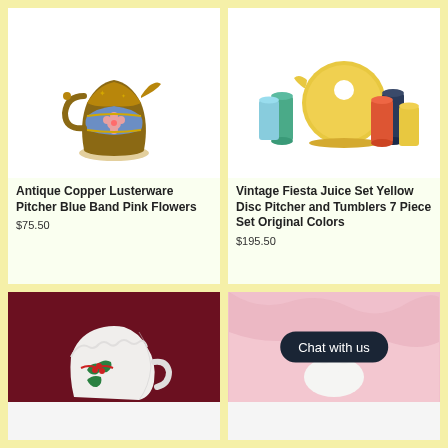[Figure (photo): Antique copper lusterware pitcher with blue band and pink flowers on white background]
Antique Copper Lusterware Pitcher Blue Band Pink Flowers
$75.50
[Figure (photo): Vintage Fiesta yellow disc pitcher with colorful tumblers on white background]
Vintage Fiesta Juice Set Yellow Disc Pitcher and Tumblers 7 Piece Set Original Colors
$195.50
[Figure (photo): White ceramic pitcher with holly and ribbon decoration on dark red background]
[Figure (photo): White fluffy dog figurine on pink fabric background with Chat with us button overlay]